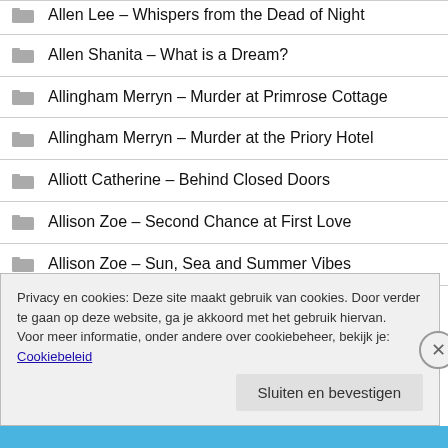Allen Lee – Whispers from the Dead of Night
Allen Shanita – What is a Dream?
Allingham Merryn – Murder at Primrose Cottage
Allingham Merryn – Murder at the Priory Hotel
Alliott Catherine – Behind Closed Doors
Allison Zoe – Second Chance at First Love
Allison Zoe – Sun, Sea and Summer Vibes
Privacy en cookies: Deze site maakt gebruik van cookies. Door verder te gaan op deze website, ga je akkoord met het gebruik hiervan. Voor meer informatie, onder andere over cookiebeheer, bekijk je: Cookiebeleid
Sluiten en bevestigen